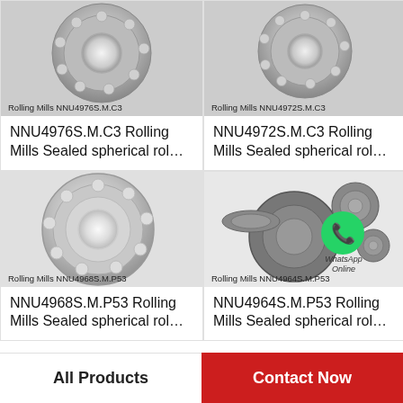[Figure (photo): Photo of NNU4976S.M.C3 Rolling Mills bearing – silver/steel spherical roller bearing, top-left product]
Rolling Mills NNU4976S.M.C3
NNU4976S.M.C3 Rolling Mills Sealed spherical rol…
[Figure (photo): Photo of NNU4972S.M.C3 Rolling Mills bearing – silver/steel spherical roller bearing, top-right product]
Rolling Mills NNU4972S.M.C3
NNU4972S.M.C3 Rolling Mills Sealed spherical rol…
[Figure (photo): Photo of NNU4968S.M.P53 Rolling Mills bearing – open silver spherical roller bearing, bottom-left product]
Rolling Mills NNU4968S.M.P53
NNU4968S.M.P53 Rolling Mills Sealed spherical rol…
[Figure (photo): Photo of NNU4964S.M.P53 Rolling Mills bearings – multiple dark sealed bearings with WhatsApp Online watermark, bottom-right product]
Rolling Mills NNU4964S.M.P53
NNU4964S.M.P53 Rolling Mills Sealed spherical rol…
All Products
Contact Now